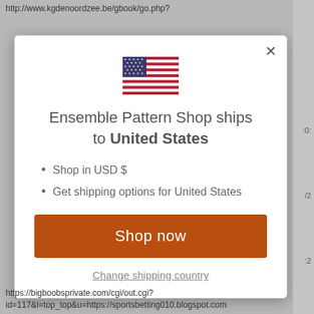http://www.kgdenoordzee.be/gbook/go.php?
[Figure (screenshot): Modal dialog overlay showing US flag, shipping information for United States, Shop now button, and Change shipping country link]
Ensemble Pattern Shop ships to United States
Shop in USD $
Get shipping options for United States
Shop now
Change shipping country
https://bigboobsprivate.com/cgi/out.cgi? id=117&l=top_top&u=https://sportsbetting010.blogspot.com